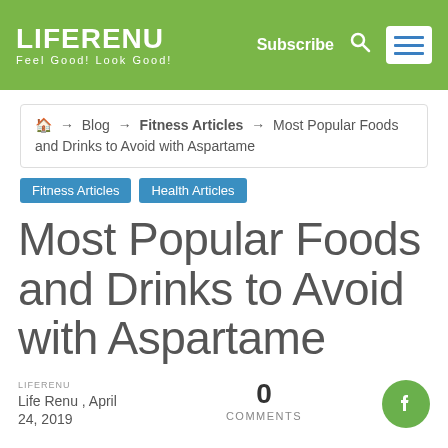LIFERENU Feel Good! Look Good! | Subscribe
🏠 → Blog → Fitness Articles → Most Popular Foods and Drinks to Avoid with Aspartame
Fitness Articles
Health Articles
Most Popular Foods and Drinks to Avoid with Aspartame
Life Renu , April 24, 2019
0 COMMENTS